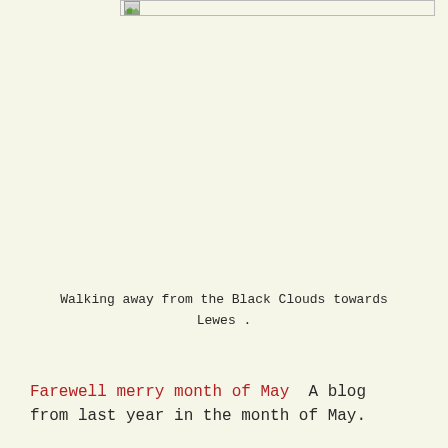[Figure (photo): A small image thumbnail/placeholder icon at the top of the page]
Walking away from the Black Clouds towards Lewes .
Farewell merry month of May  A blog from last year in the month of May.